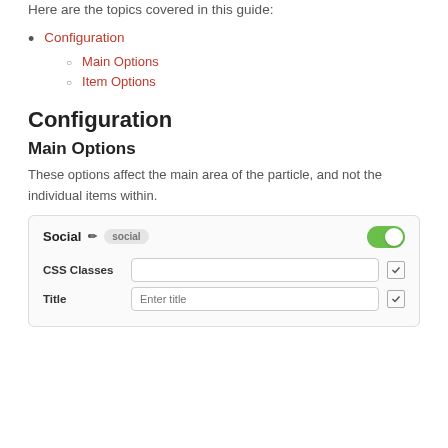Here are the topics covered in this guide:
Configuration
Main Options
Item Options
Configuration
Main Options
These options affect the main area of the particle, and not the individual items within.
[Figure (screenshot): UI configuration panel showing Social particle settings with a toggle switch enabled (green), CSS Classes input field with a checkbox, and Title input field with placeholder 'Enter title' and a checkbox.]